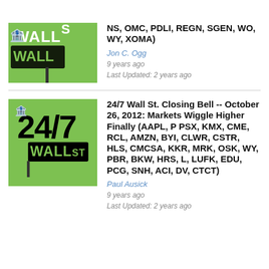[Figure (logo): 24/7 Wall St. logo on green background, partial/cropped]
NS, OMC, PDLI, REGN, SGEN, WO, WY, XOMA)
Jon C. Ogg
9 years ago
Last Updated: 2 years ago
[Figure (logo): 24/7 Wall St. logo on green background]
24/7 Wall St. Closing Bell -- October 26, 2012: Markets Wiggle Higher Finally (AAPL, P PSX, KMX, CME, RCL, AMZN, BYI, CLWR, CSTR, HLS, CMCSA, KKR, MRK, OSK, WY, PBR, BKW, HRS, L, LUFK, EDU, PCG, SNH, ACI, DV, CTCT)
Paul Ausick
9 years ago
Last Updated: 2 years ago